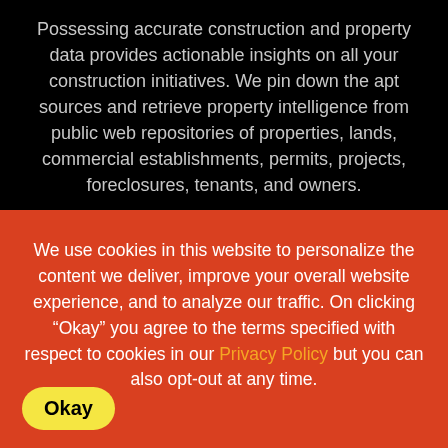Possessing accurate construction and property data provides actionable insights on all your construction initiatives. We pin down the apt sources and retrieve property intelligence from public web repositories of properties, lands, commercial establishments, permits, projects, foreclosures, tenants, and owners.
We use cookies in this website to personalize the content we deliver, improve your overall website experience, and to analyze our traffic. On clicking “Okay” you agree to the terms specified with respect to cookies in our Privacy Policy but you can also opt-out at any time.
Okay